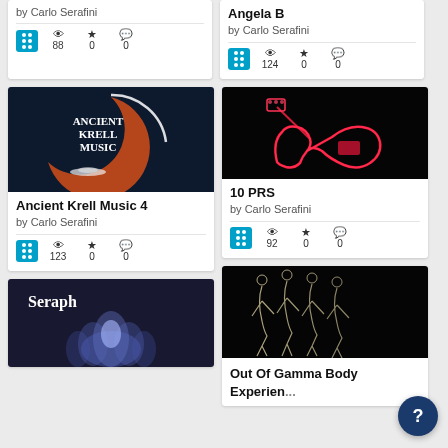[Figure (other): Partial card top-left: stats row with 88 views, 0 favorites, 0 comments, by Carlo Serafini]
[Figure (other): Angela B card by Carlo Serafini, 124 views, 0 favorites, 0 comments]
[Figure (illustration): Ancient Krell Music logo on dark background with orange crescent and white text]
Ancient Krell Music 4
by Carlo Serafini
[Figure (photo): Red neon guitar on black background]
10 PRS
by Carlo Serafini
[Figure (photo): Seraph card with blue lotus flower, partial view]
[Figure (photo): Out Of Gamma Body Experience card, skeletal/anatomical figures on black background]
Out Of Gamma Body Experience (partial)